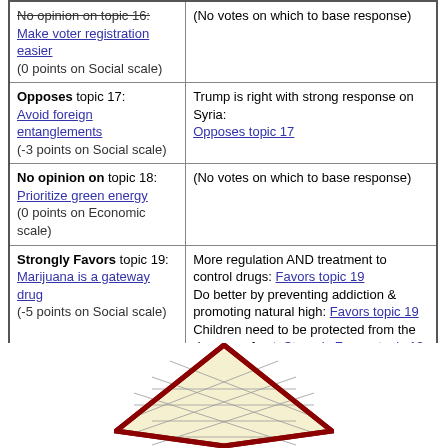| Position | Basis |
| --- | --- |
| No opinion on topic 16: Make voter registration easier (0 points on Social scale) | (No votes on which to base response) |
| Opposes topic 17: Avoid foreign entanglements (-3 points on Social scale) | Trump is right with strong response on Syria: Opposes topic 17 |
| No opinion on topic 18: Prioritize green energy (0 points on Economic scale) | (No votes on which to base response) |
| Strongly Favors topic 19: Marijuana is a gateway drug (-5 points on Social scale) | More regulation AND treatment to control drugs: Favors topic 19
Do better by preventing addiction & promoting natural high: Favors topic 19
Children need to be protected from the dangers of pot: Strongly Favors topic 19
Opposes recreational marijuana: Strongly Favors topic 19
Opposed Amendment 64: youth usage of drugs is too high: Strongly Favors topic 19 |
| Strongly Opposes topic 20: Stimulus better than market-led recovery (+5 points on Economic scale) | Create pro-business environment and cut regulations: Strongly Opposes topic 20 |
[Figure (illustration): Diamond/rhombus shaped political compass grid diagram with dark red border and light yellow interior grid, partially visible at bottom of page]